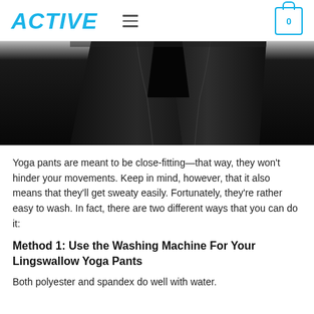ACTIVE
[Figure (photo): Close-up photo of black yoga pants/leggings showing the lower torso and upper thigh area, with visible seam stitching on dark fabric.]
Yoga pants are meant to be close-fitting—that way, they won't hinder your movements. Keep in mind, however, that it also means that they'll get sweaty easily. Fortunately, they're rather easy to wash. In fact, there are two different ways that you can do it:
Method 1: Use the Washing Machine For Your Lingswallow Yoga Pants
Both polyester and spandex do well with water.